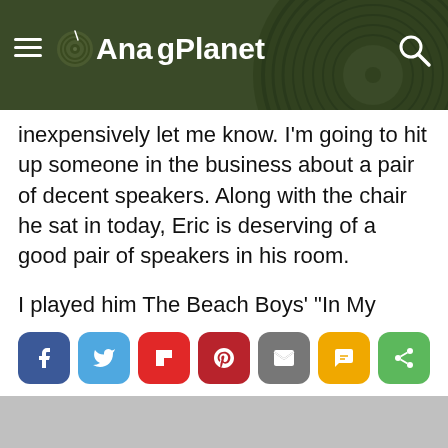AnalogPlanet
inexpensively let me know. I'm going to hit up someone in the business about a pair of decent speakers. Along with the chair he sat in today, Eric is deserving of a good pair of speakers in his room.
I played him The Beach Boys' "In My Room" from the upcoming Analogue Productions reissue of Surfer Girl and you can be sure Eric related to Brian's lyrics. He lives in that room. The least he could have there is a decent stereo, but for sure he'll get more chances to listen here.
[Figure (infographic): Social share buttons: Facebook (blue), Twitter (light blue), Flipboard (red), Pinterest (dark red), Email (gray), SMS (yellow/orange), Share (green)]